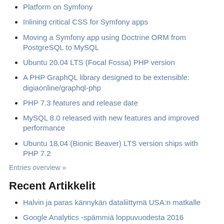Platform on Symfony
Inlining critical CSS for Symfony apps
Moving a Symfony app using Doctrine ORM from PostgreSQL to MySQL
Ubuntu 20.04 LTS (Focal Fossa) PHP version
A PHP GraphQL library designed to be extensible: digiaonline/graphql-php
PHP 7.3 features and release date
MySQL 8.0 released with new features and improved performance
Ubuntu 18.04 (Bionic Beaver) LTS version ships with PHP 7.2
Entries overview »
Recent Artikkelit
Halvin ja paras kännykän dataliittymä USA:n matkalle
Google Analytics -spämmiä loppuvuodesta 2016